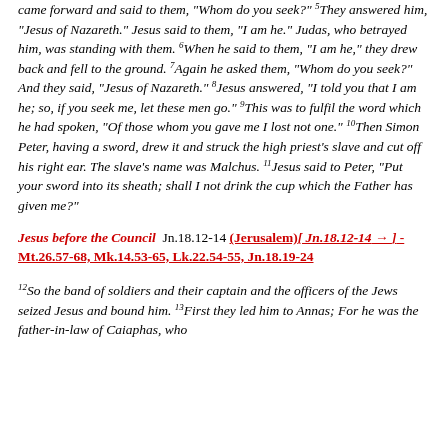came forward and said to them, "Whom do you seek?" 5They answered him, "Jesus of Nazareth." Jesus said to them, "I am he." Judas, who betrayed him, was standing with them. 6When he said to them, "I am he," they drew back and fell to the ground. 7Again he asked them, "Whom do you seek?" And they said, "Jesus of Nazareth." 8Jesus answered, "I told you that I am he; so, if you seek me, let these men go." 9This was to fulfil the word which he had spoken, "Of those whom you gave me I lost not one." 10Then Simon Peter, having a sword, drew it and struck the high priest's slave and cut off his right ear. The slave's name was Malchus. 11Jesus said to Peter, "Put your sword into its sheath; shall I not drink the cup which the Father has given me?"
Jesus before the Council  Jn.18.12-14 (Jerusalem)[ Jn.18.12-14 → ] - Mt.26.57-68, Mk.14.53-65, Lk.22.54-55, Jn.18.19-24
12So the band of soldiers and their captain and the officers of the Jews seized Jesus and bound him. 13First they led him to Annas; For he was the father-in-law of Caiaphas, who